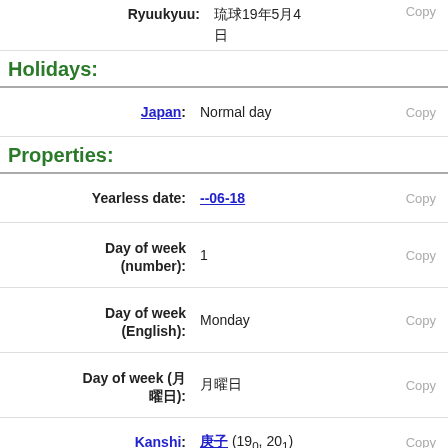Ryuukyuu: 琉球19年5月4日 月
Holidays:
Japan: Normal day
Properties:
Yearless date: --06-18
Day of week (number): 1
Day of week (English): Monday
Day of week (月曜日): 月曜日
Kanshi: 庚子 (19₀, 20₁)
干支 (Japan): 庚子